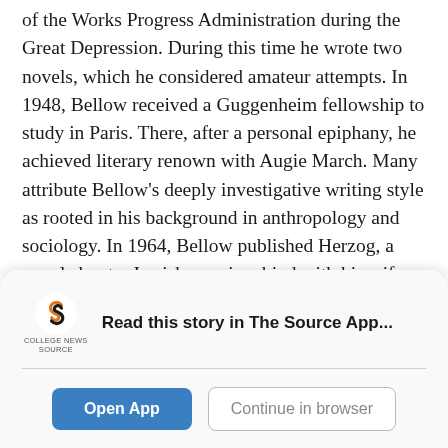of the Works Progress Administration during the Great Depression. During this time he wrote two novels, which he considered amateur attempts. In 1948, Bellow received a Guggenheim fellowship to study in Paris. There, after a personal epiphany, he achieved literary renown with Augie March. Many attribute Bellow's deeply investigative writing style as rooted in his background in anthropology and sociology. In 1964, Bellow published Herzog, a novel about a Jewish man in a bind with his wife and friend that earned him the National Book Award.

He won his third National Book Award with Mr.
[Figure (logo): College News Source logo — stylized 'S' in orange/black with text 'COLLEGE NEWS SOURCE' below]
Read this story in The Source App...
Open App
Continue in browser